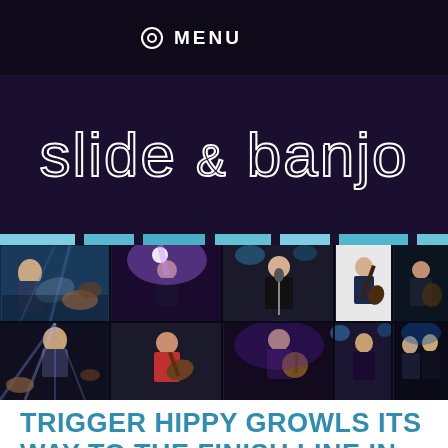MENU
slide & banjo
[Figure (photo): Collage of concert performance photos showing musicians playing guitar, drums, banjo, and other instruments under stage lighting]
TRIGGER HIPPY GROWLS ITS WAY TO THE FINISH LINE IN